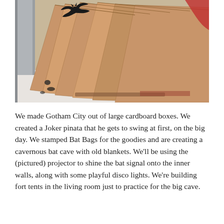[Figure (photo): A photo of brown kraft paper bags fanned out on a white surface, with a bat symbol stamped in black visible at the top of one bag. The scene is shot at an angle showing multiple bags layered.]
We made Gotham City out of large cardboard boxes. We created a Joker pinata that he gets to swing at first, on the big day. We stamped Bat Bags for the goodies and are creating a cavernous bat cave with old blankets. We'll be using the (pictured) projector to shine the bat signal onto the inner walls, along with some playful disco lights. We're building fort tents in the living room just to practice for the big cave.